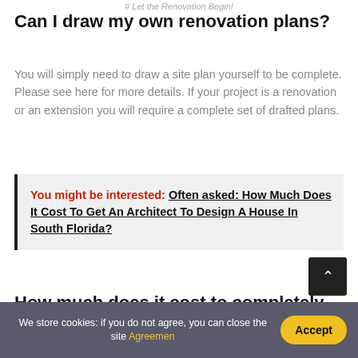# Let the Renovation Begin!
Can I draw my own renovation plans?
You will simply need to draw a site plan yourself to be complete. Please see here for more details. If your project is a renovation or an extension you will require a complete set of drafted plans.
You might be interested:  Often asked: How Much Does It Cost To Get An Architect To Design A House In South Florida?
How much does it cost to completely rehab a house?
Cost to rehab a house. The average cost to rehab a h
We store cookies: if you do not agree, you can close the site Agreemen